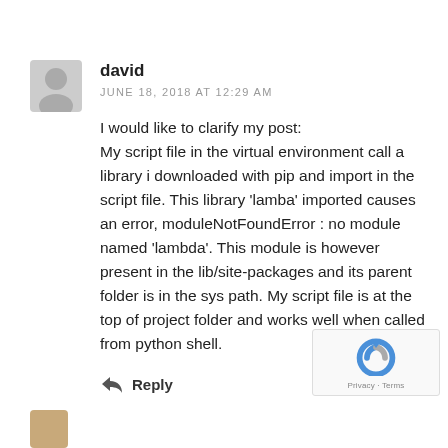david
JUNE 18, 2018 AT 12:29 AM
I would like to clarify my post:
My script file in the virtual environment call a library i downloaded with pip and import in the script file. This library 'lamba' imported causes an error, moduleNotFoundError : no module named 'lambda'. This module is however present in the lib/site-packages and its parent folder is in the sys path. My script file is at the top of project folder and works well when called from python shell.
Reply